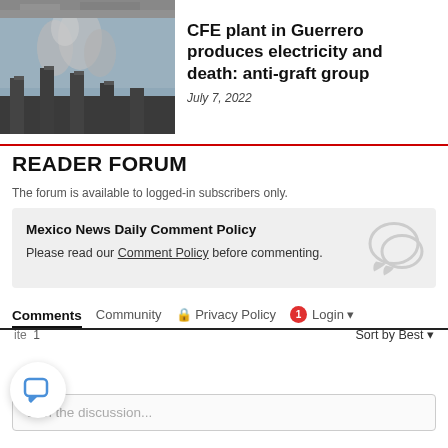[Figure (photo): Partial top of a photo showing industrial or dusty landscape]
[Figure (photo): Photo of a CFE power plant with smokestacks emitting smoke against a grey sky]
CFE plant in Guerrero produces electricity and death: anti-graft group
July 7, 2022
READER FORUM
The forum is available to logged-in subscribers only.
Mexico News Daily Comment Policy
Please read our Comment Policy before commenting.
Comments  Community  🔒 Privacy Policy  1  Login ▾
ite  1
Sort by Best ▾
Join the discussion...